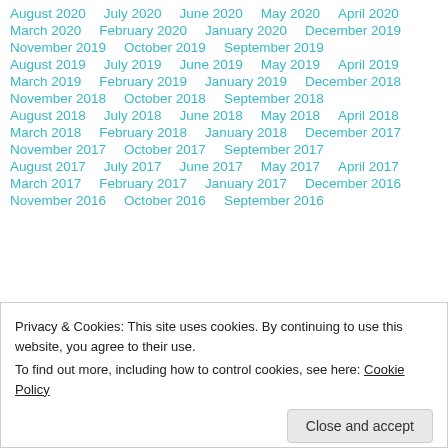August 2020  July 2020  June 2020  May 2020  April 2020
March 2020  February 2020  January 2020  December 2019
November 2019  October 2019  September 2019
August 2019  July 2019  June 2019  May 2019  April 2019
March 2019  February 2019  January 2019  December 2018
November 2018  October 2018  September 2018
August 2018  July 2018  June 2018  May 2018  April 2018
March 2018  February 2018  January 2018  December 2017
November 2017  October 2017  September 2017
August 2017  July 2017  June 2017  May 2017  April 2017
March 2017  February 2017  January 2017  December 2016
November 2016  October 2016  September 2016
Privacy & Cookies: This site uses cookies. By continuing to use this website, you agree to their use.
To find out more, including how to control cookies, see here: Cookie Policy